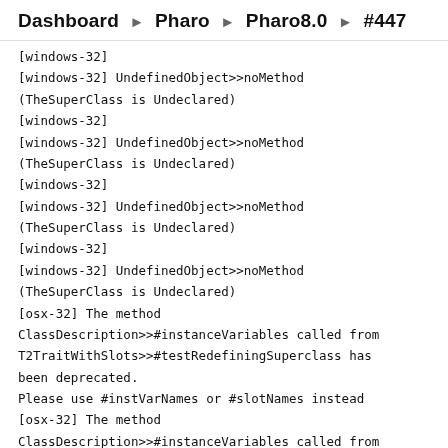Dashboard ▶ Pharo ▶ Pharo8.0 ▶ #447
[windows-32]
[windows-32] UndefinedObject>>noMethod
(TheSuperClass is Undeclared)
[windows-32]
[windows-32] UndefinedObject>>noMethod
(TheSuperClass is Undeclared)
[windows-32]
[windows-32] UndefinedObject>>noMethod
(TheSuperClass is Undeclared)
[windows-32]
[windows-32] UndefinedObject>>noMethod
(TheSuperClass is Undeclared)
[osx-32] The method ClassDescription>>#instanceVariables called from T2TraitWithSlots>>#testRedefiningSuperclass has been deprecated.
Please use #instVarNames or #slotNames instead
[osx-32] The method ClassDescription>>#instanceVariables called from T2TraitWithSlots>>#testRedefiningSuperclass has been deprecated.